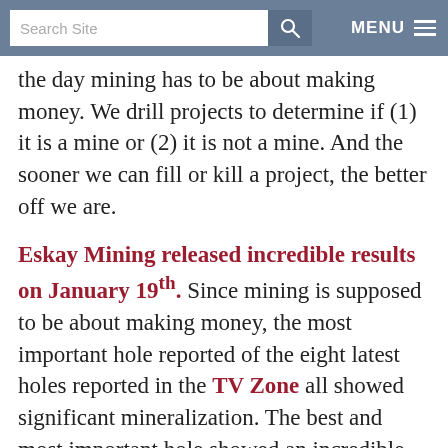Search Site | MENU
the day mining has to be about making money. We drill projects to determine if (1) it is a mine or (2) it is not a mine. And the sooner we can fill or kill a project, the better off we are.
Eskay Mining released incredible results on January 19th. Since mining is supposed to be about making money, the most important hole reported of the eight latest holes reported in the TV Zone all showed significant mineralization. The best and most important hole showed an incredible 238.87 meters of US$142.61 rock in TV21-67.